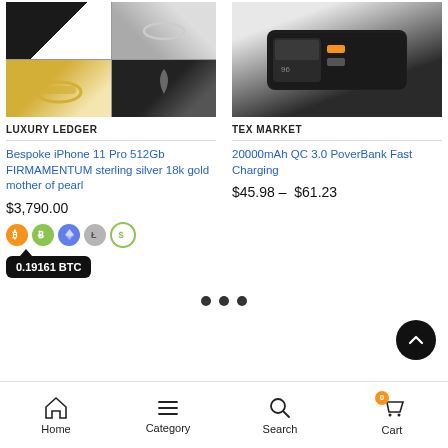[Figure (photo): Collage of luxury jewellery items including rings, watches, and figurines in a 2x2 grid]
LUXURY LEDGER
Bespoke iPhone 11 Pro 512Gb FIRMAMENTUM sterling silver 18k gold mother of pearl
$3,790.00
[Figure (illustration): Cryptocurrency payment icons: Bitcoin (BTC), Bitcoin Cash (BCH), Ethereum (ETH), Litecoin (LTC), USD Coin]
0.19161 BTC
[Figure (photo): 20000mAh power bank device in black color on a surface]
TEX MARKET
20000mAh QC 3.0 PoverBank Fast Charging
$45.98 –  $61.23
[Figure (other): Pagination dots — three filled black circles indicating carousel position]
Home  Category  Search  Cart